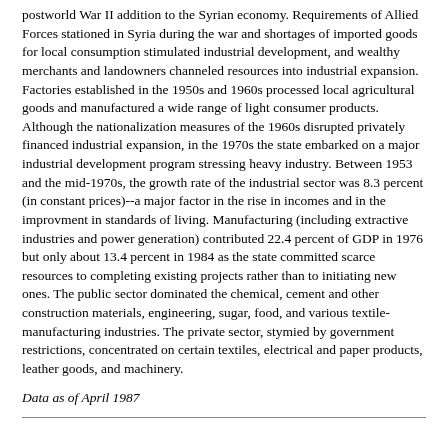postworld War II addition to the Syrian economy. Requirements of Allied Forces stationed in Syria during the war and shortages of imported goods for local consumption stimulated industrial development, and wealthy merchants and landowners channeled resources into industrial expansion. Factories established in the 1950s and 1960s processed local agricultural goods and manufactured a wide range of light consumer products. Although the nationalization measures of the 1960s disrupted privately financed industrial expansion, in the 1970s the state embarked on a major industrial development program stressing heavy industry. Between 1953 and the mid-1970s, the growth rate of the industrial sector was 8.3 percent (in constant prices)--a major factor in the rise in incomes and in the improvment in standards of living. Manufacturing (including extractive industries and power generation) contributed 22.4 percent of GDP in 1976 but only about 13.4 percent in 1984 as the state committed scarce resources to completing existing projects rather than to initiating new ones. The public sector dominated the chemical, cement and other construction materials, engineering, sugar, food, and various textile-manufacturing industries. The private sector, stymied by government restrictions, concentrated on certain textiles, electrical and paper products, leather goods, and machinery.
Data as of April 1987